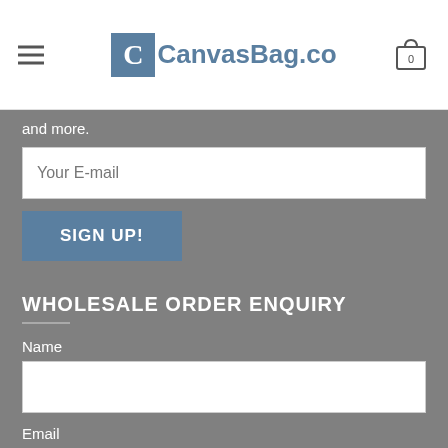CanvasBag.co
and more.
Your E-mail
SIGN UP!
WHOLESALE ORDER ENQUIRY
Name
Email